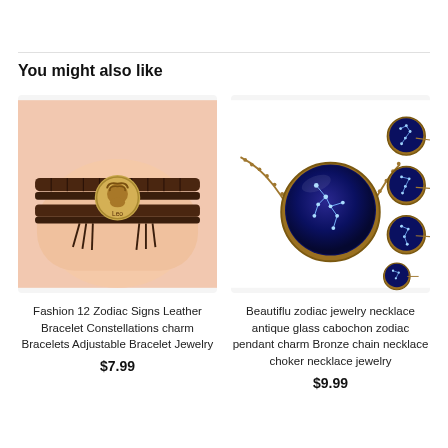You might also like
[Figure (photo): Photo of a leather bracelet with a Leo zodiac coin charm on a wrist, brown braided leather straps]
Fashion 12 Zodiac Signs Leather Bracelet Constellations charm Bracelets Adjustable Bracelet Jewelry
$7.99
[Figure (photo): Photo of a zodiac constellation necklace with blue glass cabochon pendant on bronze chain, with four smaller variant thumbnails on the right]
Beautiflu zodiac jewelry necklace antique glass cabochon zodiac pendant charm Bronze chain necklace choker necklace jewelry
$9.99